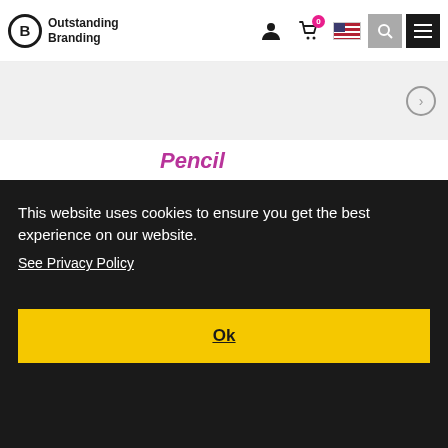Outstanding Branding — navigation header with logo, cart (0), flag, search, menu
Pencil
From £0.14 each
[Figure (photo): Product image of pencils in a box, shown inside a purple-bordered card]
This website uses cookies to ensure you get the best experience on our website. See Privacy Policy
Ok